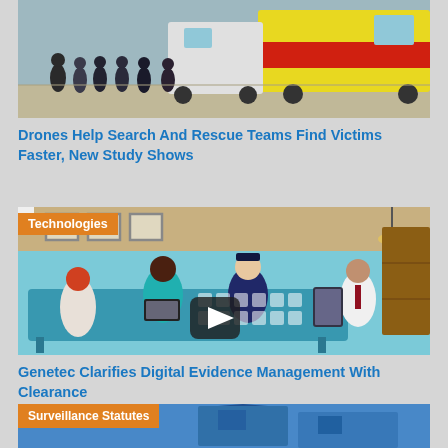[Figure (photo): Group of people including police officers and emergency responders standing near a yellow ambulance and white van outdoors]
Drones Help Search And Rescue Teams Find Victims Faster, New Study Shows
[Figure (screenshot): Animated illustration showing people around a conference table with a police officer, with app icons displayed. Labeled 'Technologies'. Includes video play button.]
Genetec Clarifies Digital Evidence Management With Clearance
[Figure (photo): Partial image labeled 'Surveillance Statutes' showing a surveillance-related illustration on blue background]